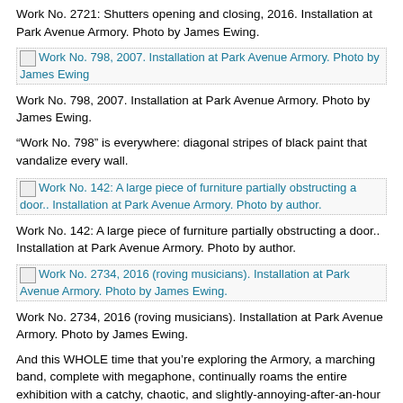Work No. 2721: Shutters opening and closing, 2016. Installation at Park Avenue Armory. Photo by James Ewing.
[Figure (photo): Work No. 798, 2007. Installation at Park Avenue Armory. Photo by James Ewing]
Work No. 798, 2007. Installation at Park Avenue Armory. Photo by James Ewing.
“Work No. 798” is everywhere: diagonal stripes of black paint that vandalize every wall.
[Figure (photo): Work No. 142: A large piece of furniture partially obstructing a door.. Installation at Park Avenue Armory. Photo by author.]
Work No. 142: A large piece of furniture partially obstructing a door.. Installation at Park Avenue Armory. Photo by author.
[Figure (photo): Work No. 2734, 2016 (roving musicians). Installation at Park Avenue Armory. Photo by James Ewing.]
Work No. 2734, 2016 (roving musicians). Installation at Park Avenue Armory. Photo by James Ewing.
And this WHOLE time that you’re exploring the Armory, a marching band, complete with megaphone, continually roams the entire exhibition with a catchy, chaotic, and slightly-annoying-after-an-hour musical composition by the artist. I love it. In the image above, they’re marching around one of my favorites: “Work No. 142: A large piece of furniture partially obstructing a door.”